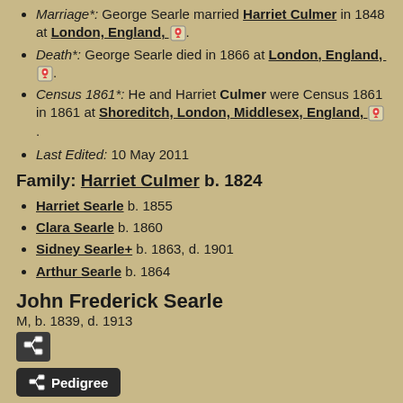Marriage*: George Searle married Harriet Culmer in 1848 at London, England, [map].
Death*: George Searle died in 1866 at London, England, [map].
Census 1861*: He and Harriet Culmer were Census 1861 in 1861 at Shoreditch, London, Middlesex, England, [map].
Last Edited: 10 May 2011
Family: Harriet Culmer b. 1824
Harriet Searle b. 1855
Clara Searle b. 1860
Sidney Searle+ b. 1863, d. 1901
Arthur Searle b. 1864
John Frederick Searle
M, b. 1839, d. 1913
Father: John Pollard Searle b. 1813, d. 1881